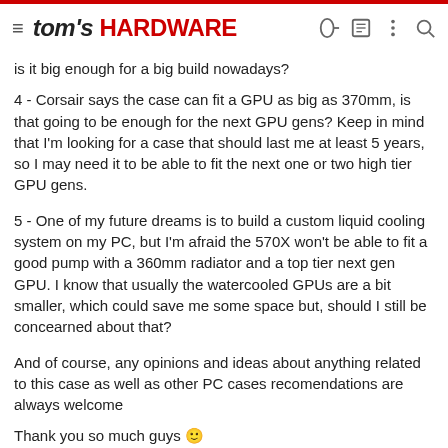tom's HARDWARE
is it big enough for a big build nowadays?
4 - Corsair says the case can fit a GPU as big as 370mm, is that going to be enough for the next GPU gens? Keep in mind that I'm looking for a case that should last me at least 5 years, so I may need it to be able to fit the next one or two high tier GPU gens.
5 - One of my future dreams is to build a custom liquid cooling system on my PC, but I'm afraid the 570X won't be able to fit a good pump with a 360mm radiator and a top tier next gen GPU. I know that usually the watercooled GPUs are a bit smaller, which could save me some space but, should I still be concearned about that?
And of course, any opinions and ideas about anything related to this case as well as other PC cases recomendations are always welcome
Thank you so much guys 😊